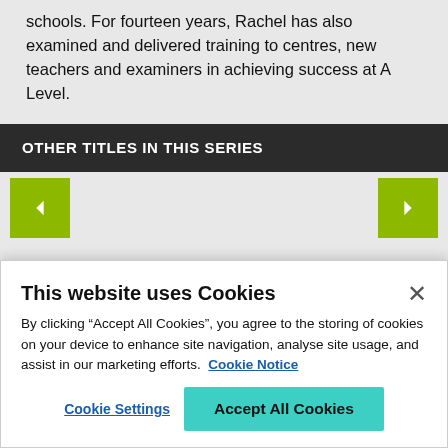schools. For fourteen years, Rachel has also examined and delivered training to centres, new teachers and examiners in achieving success at A Level.
OTHER TITLES IN THIS SERIES
[Figure (screenshot): Carousel navigation section with left and right arrow buttons in yellow-green color on a light gray background]
This website uses Cookies
By clicking “Accept All Cookies”, you agree to the storing of cookies on your device to enhance site navigation, analyse site usage, and assist in our marketing efforts. Cookie Notice
Cookie Settings | Accept All Cookies